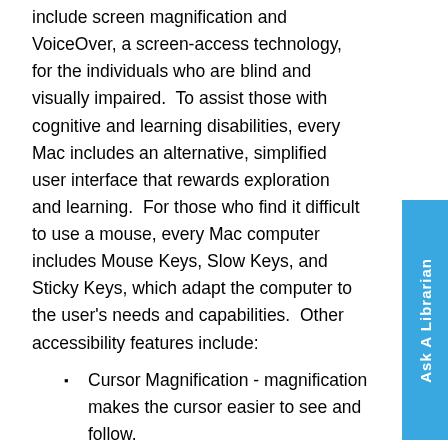include screen magnification and VoiceOver, a screen-access technology, for the individuals who are blind and visually impaired.  To assist those with cognitive and learning disabilities, every Mac includes an alternative, simplified user interface that rewards exploration and learning.  For those who find it difficult to use a mouse, every Mac computer includes Mouse Keys, Slow Keys, and Sticky Keys, which adapt the computer to the user's needs and capabilities.  Other accessibility features include:
Cursor Magnification - magnification makes the cursor easier to see and follow.
Picture-in-Picture Zoom - puts the zoomed areas in a separate window while keep the rest of the screen at its native size.
High Contract and Reverse Video - increase and